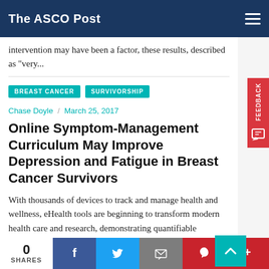The ASCO Post
intervention may have been a factor, these results, described as "very...
BREAST CANCER
SURVIVORSHIP
Chase Doyle / March 25, 2017
Online Symptom-Management Curriculum May Improve Depression and Fatigue in Breast Cancer Survivors
With thousands of devices to track and manage health and wellness, eHealth tools are beginning to transform modern health care and research, demonstrating quantifiable improvements in